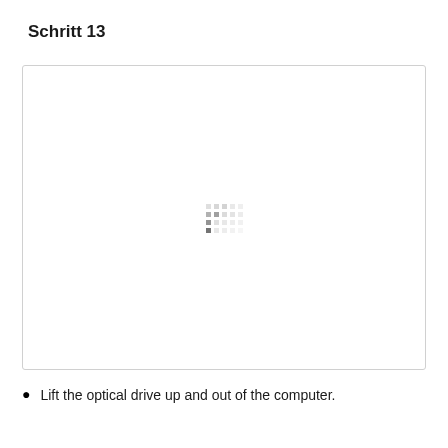Schritt 13
[Figure (photo): A large white image area with a loading/placeholder spinner icon in the center, indicating an image that failed to load or is loading. The spinner consists of a small grid of dots with varying darkness.]
Lift the optical drive up and out of the computer.